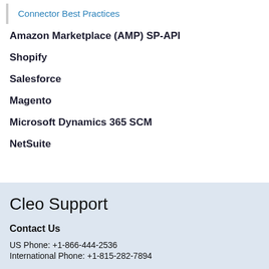Connector Best Practices
Amazon Marketplace (AMP) SP-API
Shopify
Salesforce
Magento
Microsoft Dynamics 365 SCM
NetSuite
Cleo Support
Contact Us
US Phone: +1-866-444-2536
International Phone: +1-815-282-7894